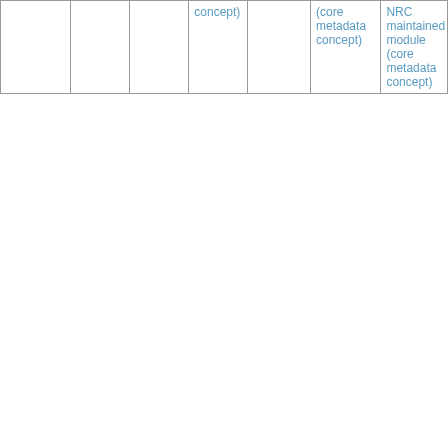|  |  |  |  |  | (core metadata concept) | NRC maintained module (core metadata concept) |
| --- | --- | --- | --- | --- | --- | --- |
|  |  |  | concept) |  | (core metadata concept) | NRC maintained module (core metadata concept) |
36 descendants. Search Descendants:
Expanded Value Set
| Outbound Relationships | Type | Target | Active | Characteristic | Refinability | Group |
| --- | --- | --- | --- | --- | --- | --- |
| Angioedema | Is a | Disorder characterized by edema | false | Inferred relationship | Some |  |
| Angioedema | Is a | Noninfectious | false | Inferred | Some |  |